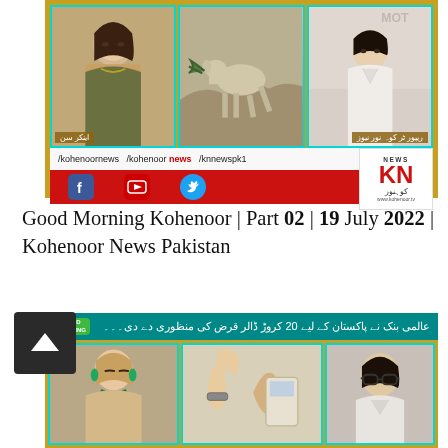[Figure (screenshot): Kohenoor News TV show thumbnail screenshot showing a three-panel split-screen with a female anchor on the left, a goat/animal footage in the center, and a male reporter on the right. Below the video panels is a white bar with social media handle text '/kohenoornews /kohenoor news /knnewspk1' and the KN News logo. Below that is a red bar with Facebook, YouTube, and Twitter social media icons and 'www.kohenoor.tv']
Good Morning Kohenoor | Part 02 | 19 July 2022 | Kohenoor News Pakistan
[Figure (screenshot): Second Kohenoor News TV show thumbnail screenshot showing a three-panel split-screen with a female anchor on left looking concerned, hands in the center panel, and a male guest with glasses on the right. The top bar shows 'Good Morning' badge with Urdu ticker text about World Bank approving 20 crore dollar loan for Pakistan.]